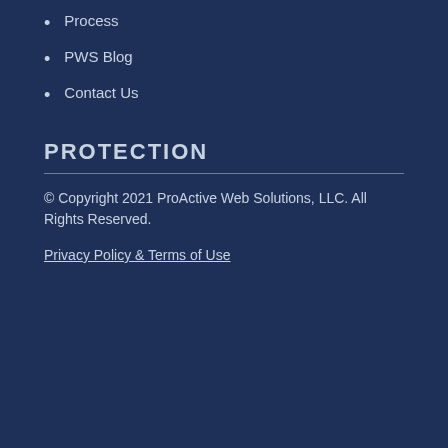Process
PWS Blog
Contact Us
PROTECTION
© Copyright 2021 ProActive Web Solutions, LLC. All Rights Reserved.
Privacy Policy & Terms of Use